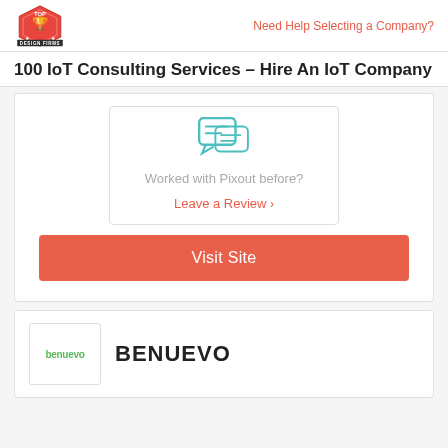Need Help Selecting a Company?
100 IoT Consulting Services – Hire An IoT Company
[Figure (illustration): Teal speech bubble with lines icon representing a review prompt]
Worked with Pixout before?
Leave a Review >
Visit Site
[Figure (logo): Benuevo company logo - green text 'benuevo' in a bordered box]
BENUEVO